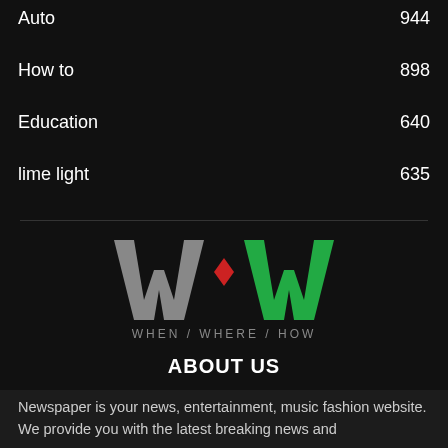Auto   944
How to   898
Education   640
lime light   635
[Figure (logo): WWW (When / Where / How) logo — two grey W letters and one green W letter with a red diamond accent, with tagline WHEN / WHERE / HOW below]
ABOUT US
Newspaper is your news, entertainment, music fashion website. We provide you with the latest breaking news and